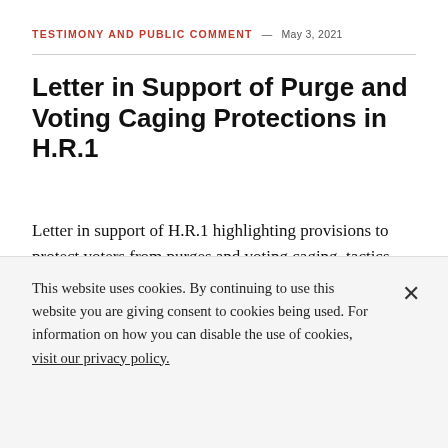TESTIMONY AND PUBLIC COMMENT — MAY 3, 2021
Letter in Support of Purge and Voting Caging Protections in H.R.1
Letter in support of H.R.1 highlighting provisions to protect voters from purges and voting caging, tactics used disproportionately to silence voters of color.
This website uses cookies. By continuing to use this website you are giving consent to cookies being used. For information on how you can disable the use of cookies, visit our privacy policy.